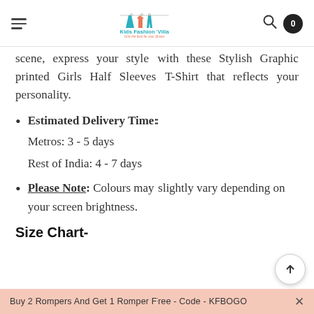Kids Fashion Villa - Only the best for your Junior
scene, express your style with these Stylish Graphic printed Girls Half Sleeves T-Shirt that reflects your personality.
Estimated Delivery Time: Metros: 3 - 5 days  Rest of India: 4 - 7 days
Please Note: Colours may slightly vary depending on your screen brightness.
Size Chart-
Buy 2 Rompers And Get 1 Romper Free - Code - KFBOGO